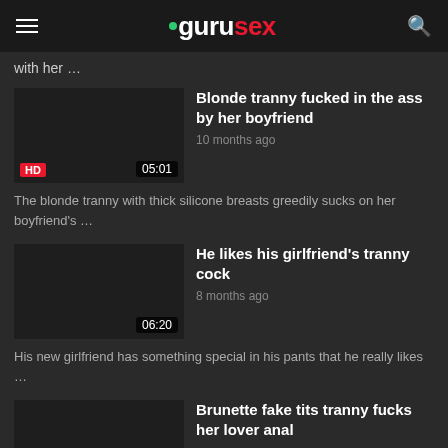gurusex
with her …
Blonde tranny fucked in the ass by her boyfriend
10 months ago
HD  05:01
The blonde tranny with thick silicone breasts greedily sucks on her boyfriend's …
He likes his girlfriend's tranny cock
8 months ago
06:20
His new girlfriend has something special in his pants that he really likes …
Brunette fake tits tranny fucks her lover anal